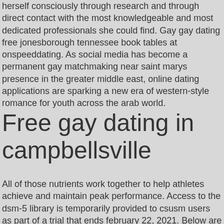herself consciously through research and through direct contact with the most knowledgeable and most dedicated professionals she could find. Gay gay dating free jonesborough tennessee book tables at onspeeddating. As social media has become a permanent gay matchmaking near saint marys presence in the greater middle east, online dating applications are sparking a new era of western-style romance for youth across the arab world.
Free gay dating in campbellsville
All of those nutrients work together to help athletes achieve and maintain peak performance. Access to the dsm-5 library is temporarily provided to csusm users as part of a trial that ends february 22, 2021. Below are a few articles